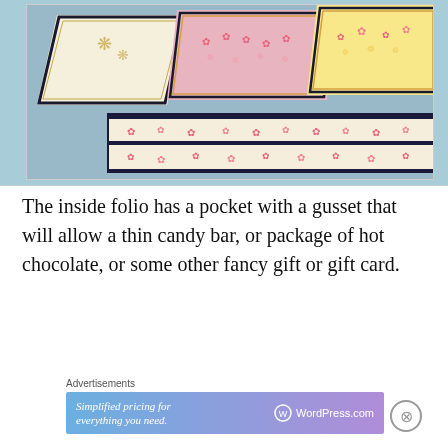[Figure (photo): Decorative handmade cards or folio with floral patterned paper on a blue background. Cards feature pink and yellow floral designs with black borders.]
The inside folio has a pocket with a gusset that will allow a thin candy bar, or package of hot chocolate, or some other fancy gift or gift card.
Advertisements
[Figure (screenshot): WordPress.com ad banner: 'Simplified pricing for everything you need. WordPress.com']
Advertisements
[Figure (screenshot): P2 WordPress ad: Getting your team on the same page is easy. And free.]